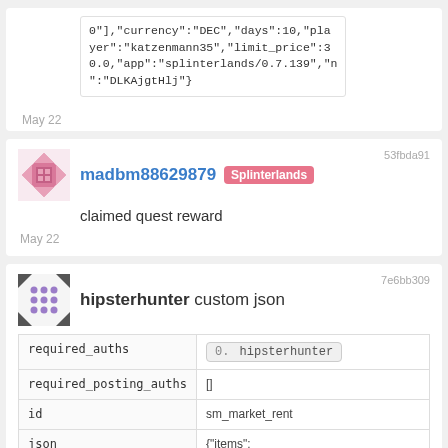0"],"currency":"DEC","days":10,"player":"katzenmann35","limit_price":30.0,"app":"splinterlands/0.7.139","n":"DLKAjgtHlj"}
May 22
53fbda91
madbm88629879 Splinterlands
claimed quest reward
May 22
7e6bb309
hipsterhunter custom json
|  |  |
| --- | --- |
| required_auths | 0. hipsterhunter |
| required_posting_auths | [] |
| id | sm_market_rent |
| json | {"items": ["67d94be230e0c110a0d0d1683b619039eb28dd8a-132"],"currency":"DEC","days":10,"player":"creepyrabbit60","limit_price":27.0,"app":"splinterlands/0.7.139","n":"FXFYpg4hJV"} |
May 22
7e0ab7f0